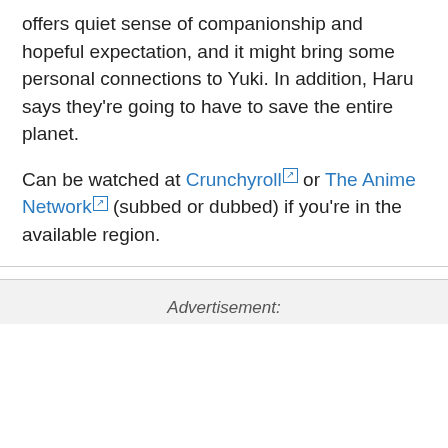offers quiet sense of companionship and hopeful expectation, and it might bring some personal connections to Yuki. In addition, Haru says they're going to have to save the entire planet.
Can be watched at Crunchyroll or The Anime Network (subbed or dubbed) if you're in the available region.
Advertisement: